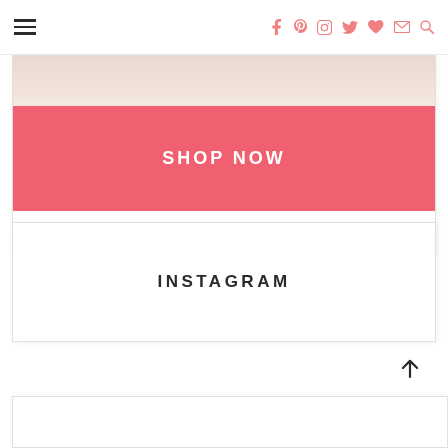Navigation bar with hamburger menu and social icons (Facebook, Pinterest, Instagram, Twitter, heart, email, search)
[Figure (screenshot): Shop Now banner — pink/coral rectangular button with white uppercase text 'SHOP NOW' over a fashion photo]
INSTAGRAM
[Figure (other): Back to top arrow button]
[Figure (screenshot): Partially visible bottom card/widget]